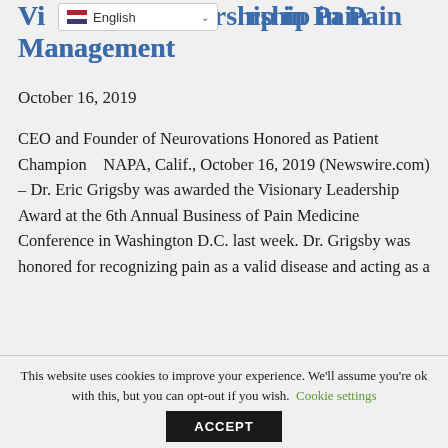Visionary Leadership in Pain Management
October 16, 2019
CEO and Founder of Neurovations Honored as Patient Champion   NAPA, Calif., October 16, 2019 (Newswire.com) – Dr. Eric Grigsby was awarded the Visionary Leadership Award at the 6th Annual Business of Pain Medicine Conference in Washington D.C. last week. Dr. Grigsby was honored for recognizing pain as a valid disease and acting as a
This website uses cookies to improve your experience. We'll assume you're ok with this, but you can opt-out if you wish. Cookie settings ACCEPT